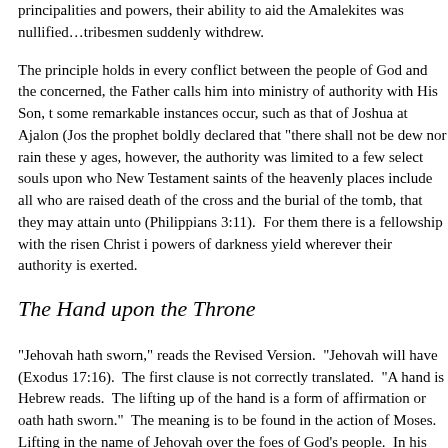principalities and powers, their ability to aid the Amalekites was nullified…tribesmen suddenly withdrew.
The principle holds in every conflict between the people of God and the…powers of darkness yield wherever their authority is exerted.
The Hand upon the Throne
"Jehovah hath sworn," reads the Revised Version. "Jehovah will have…Amalek and upon the demon powers who energized those cruel warriors…
So, today, every consecrated hand that lifts the rod of the authority of th… sun." that is, until life's day is ended. Paul prayed (Ephesians 1:17) tha…